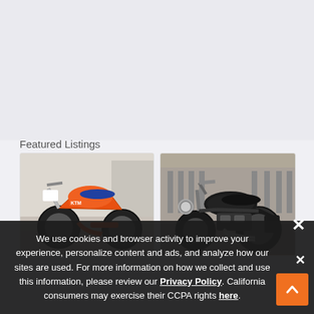Featured Listings
[Figure (photo): Orange KTM dirt bike / motocross motorcycle on display in a dealership showroom]
[Figure (photo): Black cruiser motorcycle on display in a dealership showroom with many bikes in background]
We use cookies and browser activity to improve your experience, personalize content and ads, and analyze how our sites are used. For more information on how we collect and use this information, please review our Privacy Policy. California consumers may exercise their CCPA rights here.